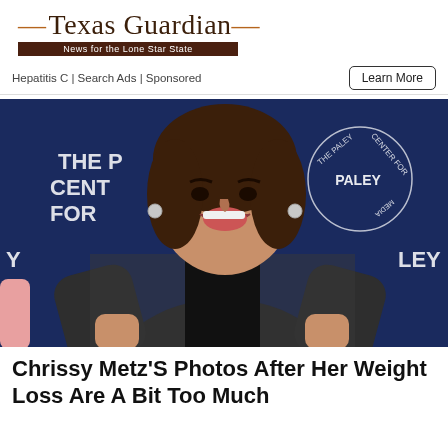Texas Guardian — News for the Lone Star State
Hepatitis C | Search Ads | Sponsored
Learn More
[Figure (photo): Woman smiling and posing at The Paley Center for Media event, wearing a dark plaid jacket, with the Paley Center logo visible in the background.]
Chrissy Metz'S Photos After Her Weight Loss Are A Bit Too Much